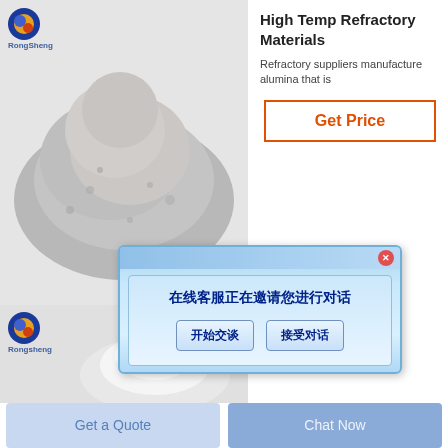[Figure (photo): Grey powder/refractory material pile on white background with RongSheng logo top left]
High Temp Refractory Materials
Refractory suppliers manufacture alumina that is
Get Price
[Figure (screenshot): Chinese chat popup dialog: 在线客服正在邀请您进行对话 with buttons 开始交谈 and 接受对话]
[Figure (photo): White powder/material on grey background with Rongsheng logo]
Get a Quote
Chat Now